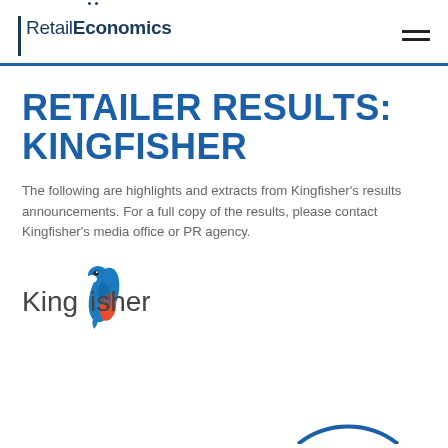[Figure (logo): Retail Economics logo with vertical bar, text 'RetailEconomics' and decorative dots]
RETAILER RESULTS: KINGFISHER
The following are highlights and extracts from Kingfisher's results announcements. For a full copy of the results, please contact Kingfisher's media office or PR agency.
[Figure (logo): Kingfisher retailer logo with kingfisher bird illustration]
[Figure (other): Partial blue circle arc at bottom of page]